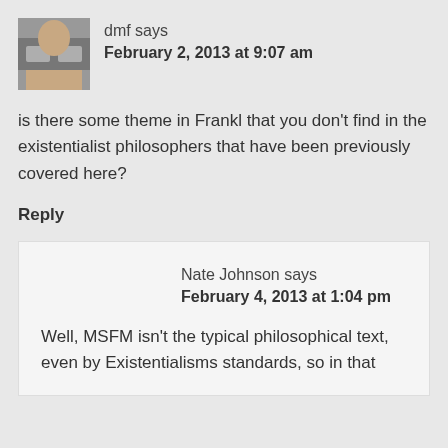[Figure (photo): Small avatar photo of a person with reflective glasses/goggles covering eyes]
dmf says
February 2, 2013 at 9:07 am
is there some theme in Frankl that you don't find in the existentialist philosophers that have been previously covered here?
Reply
Nate Johnson says
February 4, 2013 at 1:04 pm
Well, MSFM isn't the typical philosophical text, even by Existentialisms standards, so in that